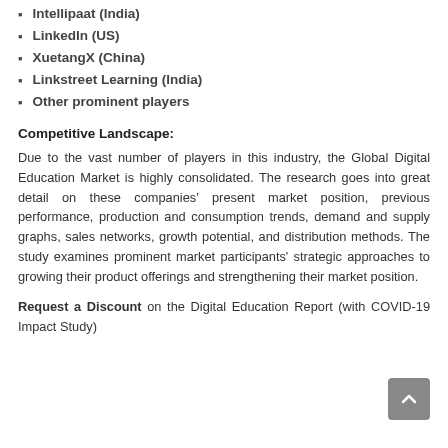Intellipaat (India)
LinkedIn (US)
XuetangX (China)
Linkstreet Learning (India)
Other prominent players
Competitive Landscape:
Due to the vast number of players in this industry, the Global Digital Education Market is highly consolidated. The research goes into great detail on these companies' present market position, previous performance, production and consumption trends, demand and supply graphs, sales networks, growth potential, and distribution methods. The study examines prominent market participants' strategic approaches to growing their product offerings and strengthening their market position.
Request a Discount on the Digital Education Report (with COVID-19 Impact Study)